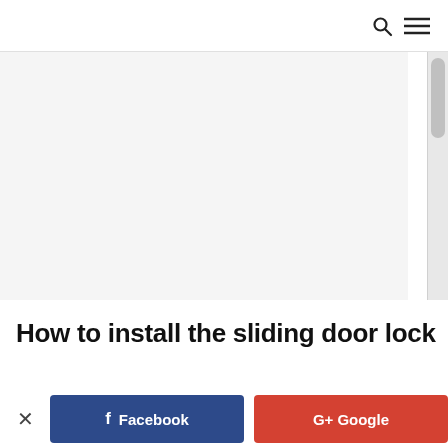[search icon] [menu icon]
[Figure (photo): Gray/white image area (photo placeholder for sliding door lock installation)]
How to install the sliding door lock
Single-leaf sliding door
When installing a lock for a single-leaf sliding door, you only need to install the lock directly on the door...